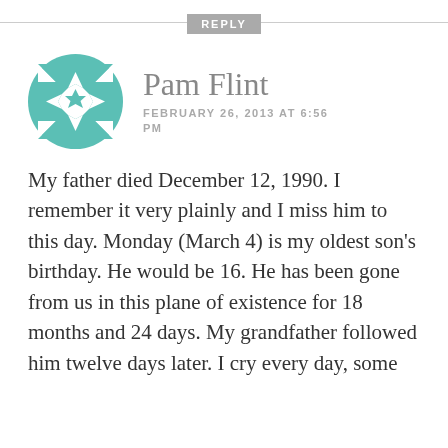REPLY
[Figure (logo): Teal geometric quilt-pattern avatar icon for Pam Flint]
Pam Flint
FEBRUARY 26, 2013 AT 6:56 PM
My father died December 12, 1990. I remember it very plainly and I miss him to this day. Monday (March 4) is my oldest son's birthday. He would be 16. He has been gone from us in this plane of existence for 18 months and 24 days. My grandfather followed him twelve days later. I cry every day, some